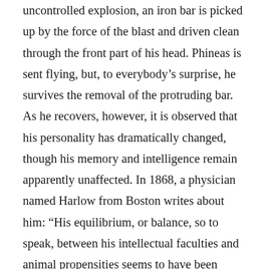uncontrolled explosion, an iron bar is picked up by the force of the blast and driven clean through the front part of his head. Phineas is sent flying, but, to everybody's surprise, he survives the removal of the protruding bar. As he recovers, however, it is observed that his personality has dramatically changed, though his memory and intelligence remain apparently unaffected. In 1868, a physician named Harlow from Boston writes about him: “His equilibrium, or balance, so to speak, between his intellectual faculties and animal propensities seems to have been destroyed. He is fitful, irreverent, indulging in the grossest profanity (which was not previously his custom), manifesting but little deference for his fellows, impatient of restraint or advice when it conflicts with his desires.” The now extremely rude Phineas Gage is an object of immense